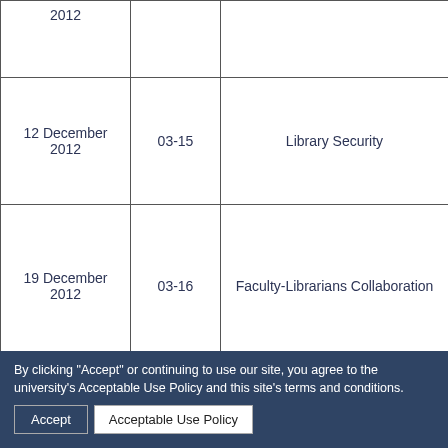| Date | Code | Title |
| --- | --- | --- |
| 2012 |  |  |
| 12 December 2012 | 03-15 | Library Security |
| 19 December 2012 | 03-16 | Faculty-Librarians Collaboration |
| 2 January 2013 | 03-17 | Pagbabalik-tanaw sa Makabuhuluh... 2012 sa UP Diliman University Libra... |
| 9 January 2013 | 03-17 | Job Transitions |
By clicking "Accept" or continuing to use our site, you agree to the university's Acceptable Use Policy and this site's terms and conditions.